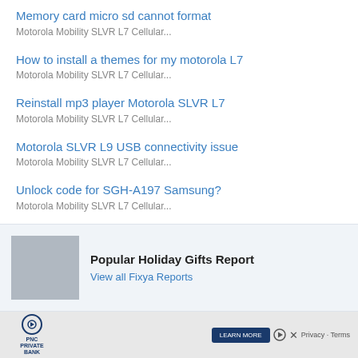Memory card micro sd cannot format
Motorola Mobility SLVR L7 Cellular...
How to install a themes for my motorola L7
Motorola Mobility SLVR L7 Cellular...
Reinstall mp3 player Motorola SLVR L7
Motorola Mobility SLVR L7 Cellular...
Motorola SLVR L9 USB connectivity issue
Motorola Mobility SLVR L7 Cellular...
Unlock code for SGH-A197 Samsung?
Motorola Mobility SLVR L7 Cellular...
[Figure (infographic): Promotional box with placeholder image and text: Popular Holiday Gifts Report with link View all Fixya Reports]
[Figure (infographic): PNC Private Bank advertisement banner with Play button, Learn More button, and Privacy/Terms text]